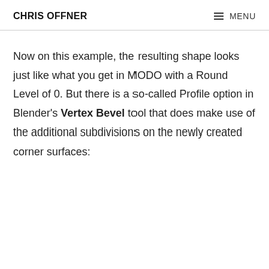CHRIS OFFNER   ≡ MENU
Now on this example, the resulting shape looks just like what you get in MODO with a Round Level of 0. But there is a so-called Profile option in Blender's Vertex Bevel tool that does make use of the additional subdivisions on the newly created corner surfaces: